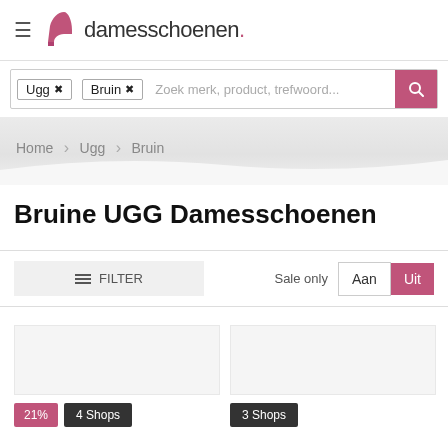damesschoenen.
Ugg × Bruin × Zoek merk, product, trefwoord...
Home > Ugg > Bruin
Bruine UGG Damesschoenen
≡ FILTER   Sale only  Aan  Uit
21%  4 Shops   3 Shops